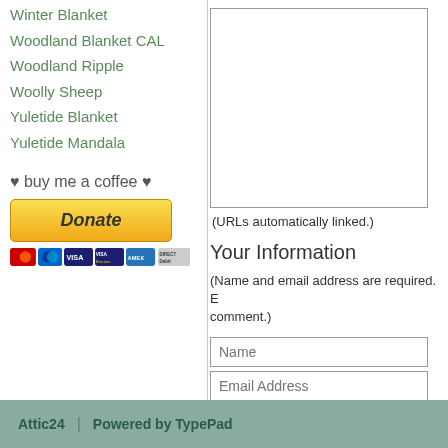Woodland Blanket CAL
Woodland Ripple
Woolly Sheep
Yuletide Blanket
Yuletide Mandala
♥ buy me a coffee ♥
[Figure (screenshot): PayPal Donate button with payment card icons (Mastercard, Maestro, Visa, Visa Electron, American Express, Direct Debit)]
(URLs automatically linked.)
Your Information
(Name and email address are required. E... comment.)
Name
Email Address
Web Site URL
Post  Preview
Attic24 | Powered by TypePad